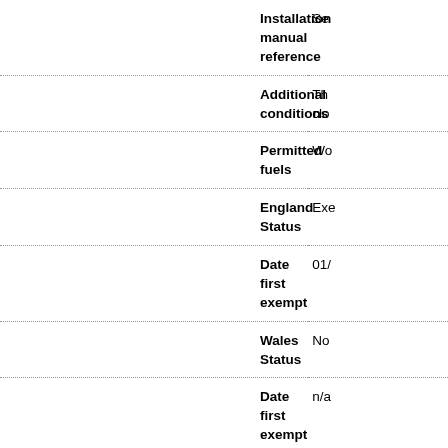| Field | Value |
| --- | --- |
| Installation manual reference | Se… |
| Additional conditions | Th… clo… |
| Permitted fuels | Wo… |
| England Status
Date first exempt | Exe…
01/… |
| Wales Status
Date first exempt | No…
n/a… |
| Scotland Status
Date first exempt | Exe…
01/… |
| N. Ireland Status
Date first exempt | Exe…
01/… |